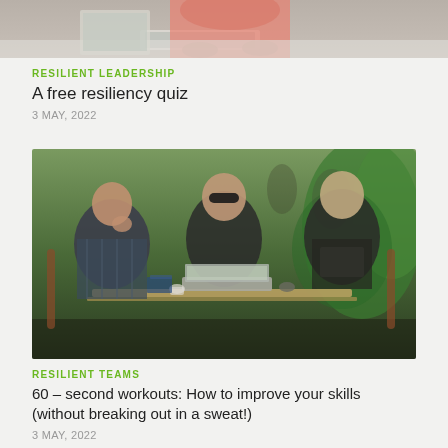[Figure (photo): Partial photo at top showing person in coral/salmon top working at a laptop, cropped to show torso and hands]
RESILIENT LEADERSHIP
A free resiliency quiz
3 MAY, 2022
[Figure (photo): Three people sitting at an outdoor cafe table with a laptop. Man on left in checkered shirt with hand to mouth, woman in center wearing sunglasses working on laptop, man on right in dark t-shirt looking on. Lush green background.]
RESILIENT TEAMS
60 – second workouts: How to improve your skills (without breaking out in a sweat!)
3 MAY, 2022